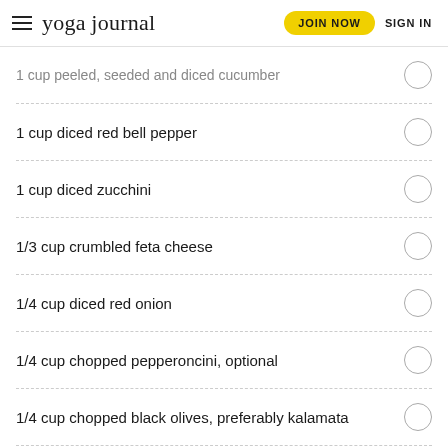yoga journal  JOIN NOW  SIGN IN
1 cup peeled, seeded and diced cucumber
1 cup diced red bell pepper
1 cup diced zucchini
1/3 cup crumbled feta cheese
1/4 cup diced red onion
1/4 cup chopped pepperoncini, optional
1/4 cup chopped black olives, preferably kalamata
2 Tbs. extra virgin olive oil